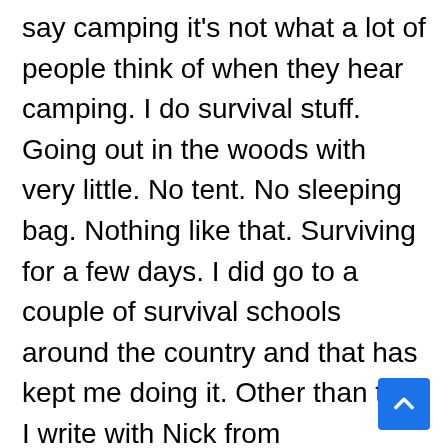say camping it's not what a lot of people think of when they hear camping. I do survival stuff. Going out in the woods with very little. No tent. No sleeping bag. Nothing like that. Surviving for a few days. I did go to a couple of survival schools around the country and that has kept me doing it. Other than that I write with Nick from ACCIDENTALLY. I make a lot of music with friends. I play a lot of instruments. Drums since I was 8, played guitar for a couple of years, piano when I was a kid so I can diddle around a bit. I can kind of screw around on a trombone. Little bit of an accordion if there's one around. We play all kinds of music. We're a collective group of musicians and